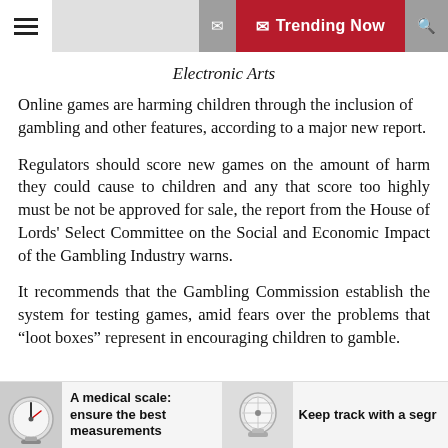Trending Now
Electronic Arts
Online games are harming children through the inclusion of gambling and other features, according to a major new report.
Regulators should score new games on the amount of harm they could cause to children and any that score too highly must be not be approved for sale, the report from the House of Lords' Select Committee on the Social and Economic Impact of the Gambling Industry warns.
It recommends that the Gambling Commission establish the system for testing games, amid fears over the problems that “loot boxes” represent in encouraging children to gamble.
A medical scale: ensure the best measurements
Keep track with a segr